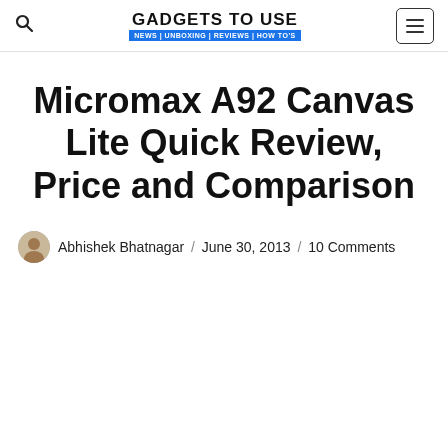GADGETS TO USE | NEWS | UNBOXING | REVIEWS | HOW TO'S
Micromax A92 Canvas Lite Quick Review, Price and Comparison
Abhishek Bhatnagar / June 30, 2013 / 10 Comments